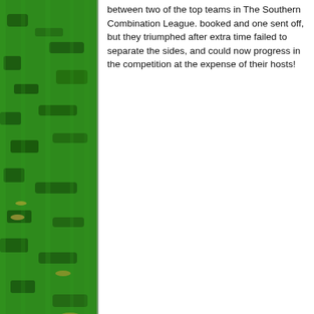[Figure (photo): Green grass/turf photo forming a left-side border strip]
between two of the top teams in The Southern Combination League. booked and one sent off, but they triumphed after extra time failed to separate the sides, and could now progress in the competition at the expense of their hosts!